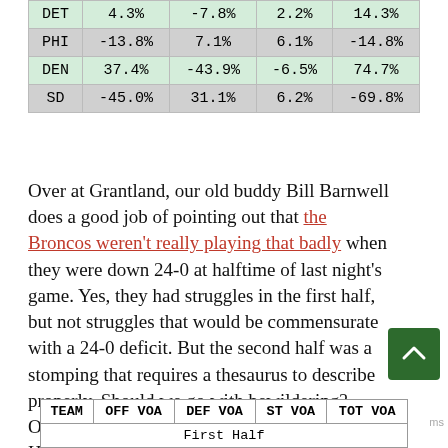| TEAM | OFF VOA | DEF VOA | ST VOA | TOT VOA |
| --- | --- | --- | --- | --- |
| DET | 4.3% | -7.8% | 2.2% | 14.3% |
| PHI | -13.8% | 7.1% | 6.1% | -14.8% |
| DEN | 37.4% | -43.9% | -6.5% | 74.7% |
| SD | -45.0% | 31.1% | 6.2% | -69.8% |
Over at Grantland, our old buddy Bill Barnwell does a good job of pointing out that the Broncos weren't really playing that badly when they were down 24-0 at halftime of last night's game. Yes, they had struggles in the first half, but not struggles that would be commensurate with a 24-0 deficit. But the second half was a stomping that requires a thesaurus to describe properly. Should we go with bewildering? Overwhelming? Gargantuan? Monumental? How about "elephantine?"
| TEAM | OFF VOA | DEF VOA | ST VOA | TOT VOA |
| --- | --- | --- | --- | --- |
| First Half |  |  |  |  |